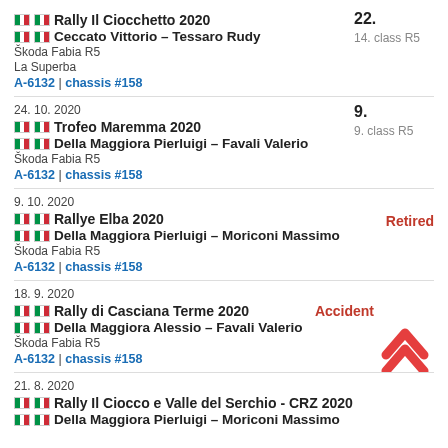Rally Il Ciocchetto 2020
Ceccato Vittorio – Tessaro Rudy
Škoda Fabia R5
La Superba
A-6132 | chassis #158
22. / 14. class R5
24. 10. 2020
Trofeo Maremma 2020
Della Maggiora Pierluigi – Favali Valerio
Škoda Fabia R5
A-6132 | chassis #158
9. / 9. class R5
9. 10. 2020
Rallye Elba 2020
Della Maggiora Pierluigi – Moriconi Massimo
Škoda Fabia R5
A-6132 | chassis #158
Retired
18. 9. 2020
Rally di Casciana Terme 2020
Della Maggiora Alessio – Favali Valerio
Škoda Fabia R5
A-6132 | chassis #158
Accident
21. 8. 2020
Rally Il Ciocco e Valle del Serchio - CRZ 2020
Della Maggiora Pierluigi – Moriconi Massimo